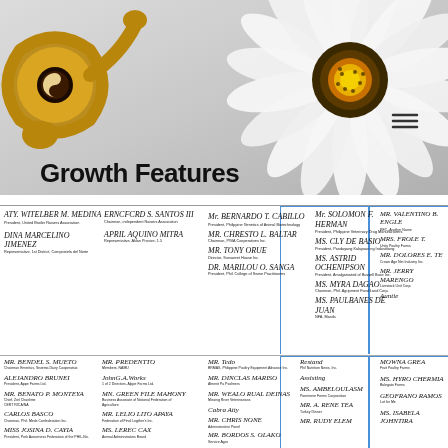[Figure (photo): Banner photo of a white daisy flower with yellow center on light background, with a stylized golden 'g' logo in the top left corner and a hamburger menu icon on the right]
Growth Features
[Figure (photo): Multiple signature blocks of various officials and organization representatives arranged in a grid layout across the lower portion of the page]